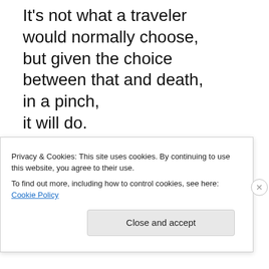It's not what a traveler
would normally choose,
but given the choice
between that and death,
in a pinch,
it will do.

She knows the path
to the sulfur spring well.
She's trodden it many times.
It's not hard to get to.
it...
Privacy & Cookies: This site uses cookies. By continuing to use this website, you agree to their use.
To find out more, including how to control cookies, see here: Cookie Policy
Close and accept